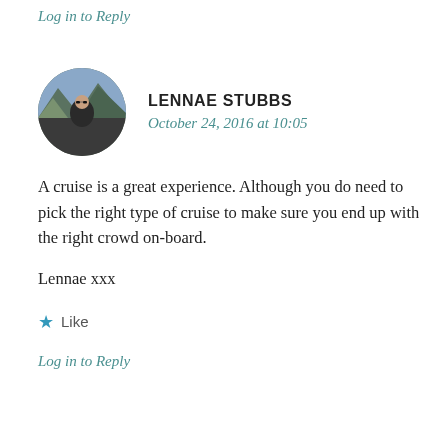Log in to Reply
LENNAE STUBBS
October 24, 2016 at 10:05
[Figure (photo): Circular avatar photo of Lennae Stubbs, a woman outdoors with mountains in background]
A cruise is a great experience. Although you do need to pick the right type of cruise to make sure you end up with the right crowd on-board.
Lennae xxx
★ Like
Log in to Reply